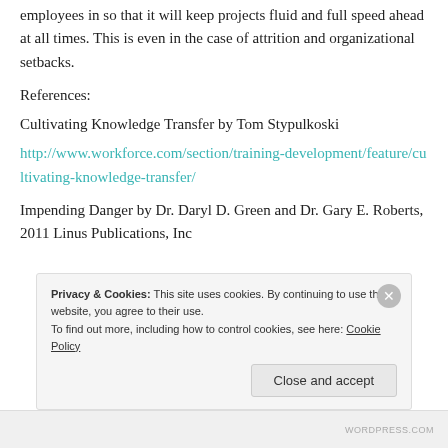employees in so that it will keep projects fluid and full speed ahead at all times. This is even in the case of attrition and organizational setbacks.
References:
Cultivating Knowledge Transfer by Tom Stypulkoski
http://www.workforce.com/section/training-development/feature/cultivating-knowledge-transfer/
Impending Danger by Dr. Daryl D. Green and Dr. Gary E. Roberts, 2011 Linus Publications, Inc
Privacy & Cookies: This site uses cookies. By continuing to use this website, you agree to their use.
To find out more, including how to control cookies, see here: Cookie Policy